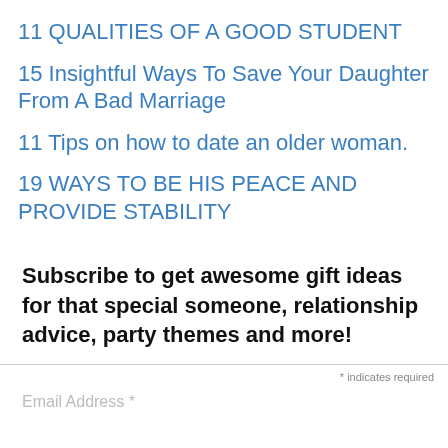11 QUALITIES OF A GOOD STUDENT
15 Insightful Ways To Save Your Daughter From A Bad Marriage
11 Tips on how to date an older woman.
19 WAYS TO BE HIS PEACE AND PROVIDE STABILITY
Subscribe to get awesome gift ideas for that special someone, relationship advice, party themes and more!
* indicates required
Email Address *